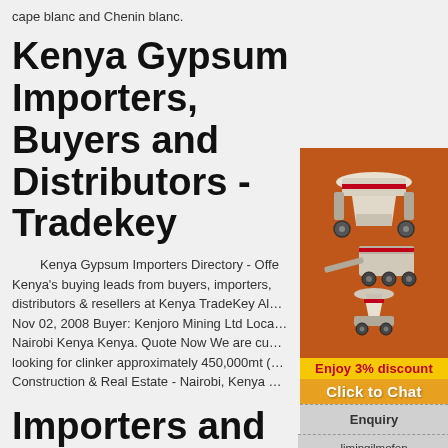cape blanc and Chenin blanc.
Kenya Gypsum Importers, Buyers and Distributors - Tradekey
Kenya Gypsum Importers Directory - Offe Kenya's buying leads from buyers, importers, distributors & resellers at Kenya TradeKey Al… Nov 02, 2008 Buyer: Kenjoro Mining Ltd Loca… Nairobi Kenya Kenya. Quote Now We are cu… looking for clinker approximately 450,000mt (… Construction & Real Estate - Nairobi, Kenya …
[Figure (illustration): Orange advertisement panel showing industrial machinery (crusher equipment), with text 'Enjoy 3% discount', 'Click to Chat', 'Enquiry', and 'limingjlmofen@sina.com']
Importers and Exporters in Kenya